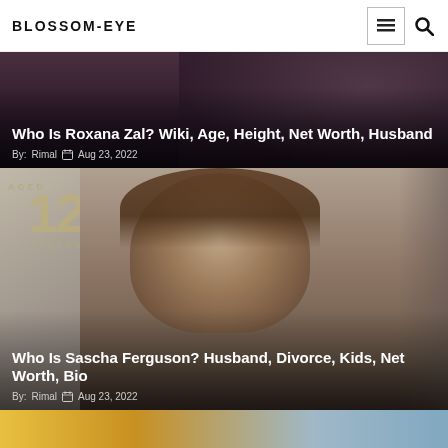BLOSSOM-EYE
Who Is Roxana Zal? Wiki, Age, Height, Net Worth, Husband
By: Rimal  Aug 23, 2022
[Figure (photo): Dark moody background photo for the article about Roxana Zal]
Who Is Sascha Ferguson? Husband, Divorce, Kids, Net Worth, Bio
By: Rimal  Aug 23, 2022
[Figure (photo): Photo of a woman with short brown hair smiling, with 'AGED 12 YEARS' text visible in background, for article about Sascha Ferguson]
[Figure (photo): Partially visible third article card at the bottom with a yellow-blue background]